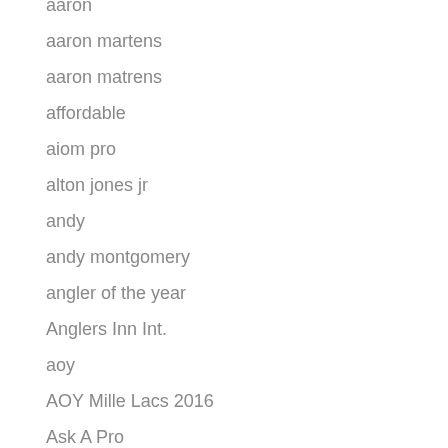aaron
aaron martens
aaron matrens
affordable
aiom pro
alton jones jr
andy
andy montgomery
angler of the year
Anglers Inn Int.
aoy
AOY Mille Lacs 2016
Ask A Pro